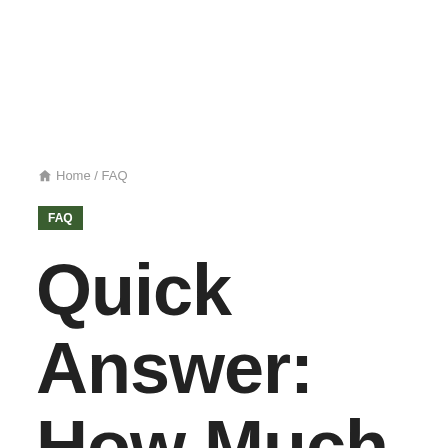Home / FAQ
FAQ
Quick Answer: How Much Rose Water To Replace